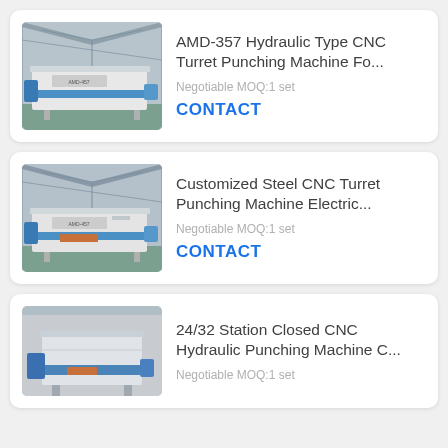[Figure (photo): AMD-357 CNC Turret Punching Machine in factory setting, white/blue body, industrial shed background]
AMD-357 Hydraulic Type CNC Turret Punching Machine Fo...
Negotiable MOQ:1 set
CONTACT
[Figure (photo): AMD-457 CNC Turret Punching Machine in factory setting, blue accents, industrial shed background]
Customized Steel CNC Turret Punching Machine Electric...
Negotiable MOQ:1 set
CONTACT
[Figure (photo): 24/32 Station Closed CNC Hydraulic Punching Machine, white and blue body, front view]
24/32 Station Closed CNC Hydraulic Punching Machine C...
Negotiable MOQ:1 set